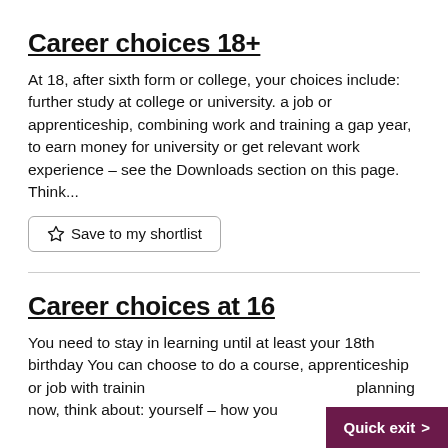Career choices 18+
At 18, after sixth form or college, your choices include: further study at college or university. a job or apprenticeship, combining work and training a gap year, to earn money for university or get relevant work experience – see the Downloads section on this page. Think...
☆ Save to my shortlist
Career choices at 16
You need to stay in learning until at least your 18th birthday You can choose to do a course, apprenticeship or job with training planning now, think about: yourself – how you